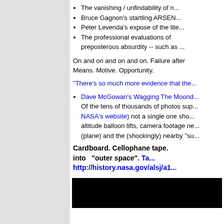The vanishing / unfindability of n...
Bruce Gagnon's startling ARSEN...
Peter Levenda's expose of the lite...
The professional evaluations of ... preposterous absurdity -- such as ...
On and on and on and on. Failure after... Means. Motive. Opportunity.
"There's so much more evidence that the...
Dave McGowan's Wagging The Moond... Of the tens of thousands of photos sup... NASA's website ) not a single one sho... altitude balloon lifts, camera footage ne... (plane) and the (shockingly) nearby "su...
Cardboard. Cellophane tape. ... into "outer space". Ta... http://history.nasa.gov/alsj/a1...
[Figure (photo): Black rectangle at bottom of page, partially visible.]